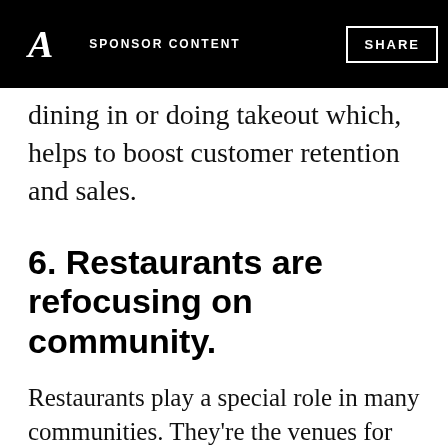A  SPONSOR CONTENT  SHARE
dining in or doing takeout which, helps to boost customer retention and sales.
6. Restaurants are refocusing on community.
Restaurants play a special role in many communities. They're the venues for many important life events, such as first dates, reunions, and business meetings. Strong community ties mean stronger connections with patrons, which is why many restaurants plan to invest in more community-service initiatives.